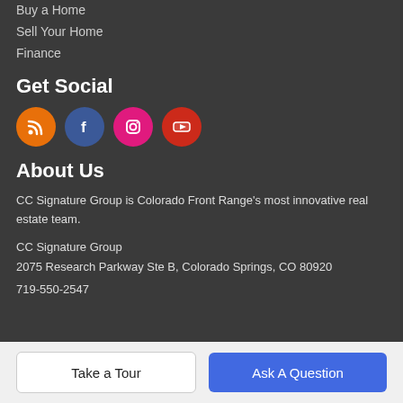Buy a Home
Sell Your Home
Finance
Get Social
[Figure (illustration): Four social media icon circles: RSS (orange), Facebook (blue), Instagram (pink), YouTube (red)]
About Us
CC Signature Group is Colorado Front Range's most innovative real estate team.
CC Signature Group
2075 Research Parkway Ste B, Colorado Springs, CO 80920
719-550-2547